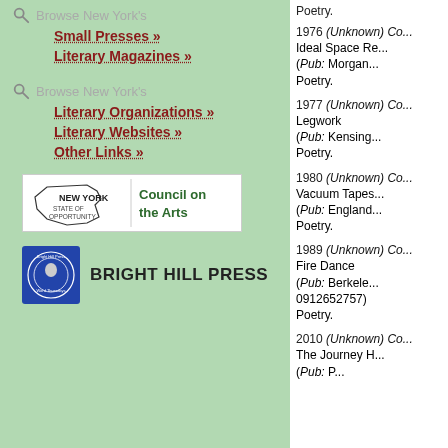Browse New York's
Small Presses »
Literary Magazines »
Browse New York's
Literary Organizations »
Literary Websites »
Other Links »
[Figure (logo): New York State of Opportunity Council on the Arts logo]
[Figure (logo): Bright Hill Press logo with circular emblem]
Poetry.
1976 (Unknown) Co... Ideal Space Re... (Pub: Morgan... Poetry.
1977 (Unknown) Co... Legwork (Pub: Kensing... Poetry.
1980 (Unknown) Co... Vacuum Tapes... (Pub: England... Poetry.
1989 (Unknown) Co... Fire Dance (Pub: Berkele... 0912652757) Poetry.
2010 (Unknown) Co... The Journey H... (Pub: P...